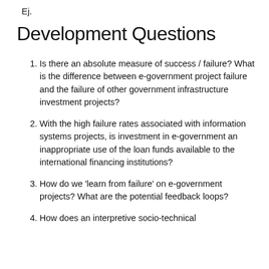Ej.
Development Questions
Is there an absolute measure of success / failure? What is the difference between e-government project failure and the failure of other government infrastructure investment projects?
With the high failure rates associated with information systems projects, is investment in e-government an inappropriate use of the loan funds available to the international financing institutions?
How do we 'learn from failure' on e-government projects? What are the potential feedback loops?
How does an interpretive socio-technical